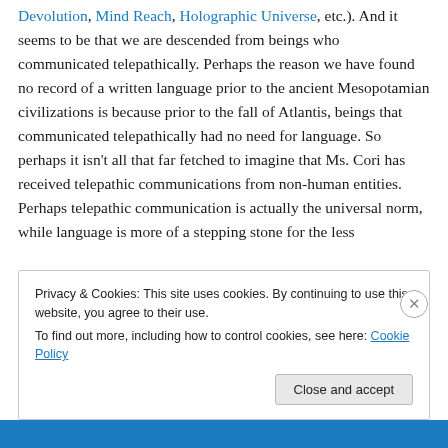Devolution, Mind Reach, Holographic Universe, etc.). And it seems to be that we are descended from beings who communicated telepathically. Perhaps the reason we have found no record of a written language prior to the ancient Mesopotamian civilizations is because prior to the fall of Atlantis, beings that communicated telepathically had no need for language. So perhaps it isn't all that far fetched to imagine that Ms. Cori has received telepathic communications from non-human entities. Perhaps telepathic communication is actually the universal norm, while language is more of a stepping stone for the less
Privacy & Cookies: This site uses cookies. By continuing to use this website, you agree to their use.
To find out more, including how to control cookies, see here: Cookie Policy